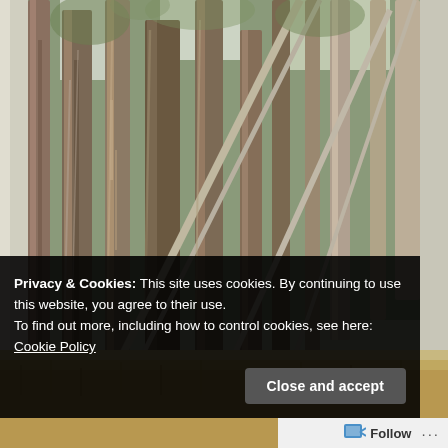[Figure (photo): Photograph of tall eucalyptus trees with peeling bark standing in a grove, dry grass on the ground, green foliage visible in the background, taken from ground level looking through the trunks.]
Privacy & Cookies: This site uses cookies. By continuing to use this website, you agree to their use.
To find out more, including how to control cookies, see here: Cookie Policy
Close and accept
Follow